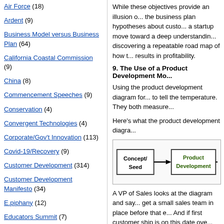Air Force (18)
Ardent (9)
Business Model versus Business Plan (64)
California Coastal Commission (9)
China (8)
Commencement Speeches (9)
Conservation (4)
Convergent Technologies (4)
Corporate/Gov't Innovation (113)
Covid-19/Recovery (9)
Customer Development (314)
Customer Development Manifesto (34)
E.piphany (12)
Educators Summit (7)
While these objectives provide an illusion o... the business plan hypotheses about custo... a startup move toward a deep understandin... discovering a repeatable road map of how t... results in profitability.
9. The Use of a Product Development Mo...
Using the product development diagram for... to tell the temperature. They both measure...
Here's what the product development diagra...
[Figure (flowchart): Product development flowchart showing Concept/Seed box connected by arrow to Product Development box, with another arrow pointing off screen to the right.]
A VP of Sales looks at the diagram and say... get a small sales team in place before that e... And if first customer ship is on this date ove... organization by then. Why? Well, because... shows us generating customer revenue fro...
I hope this thinking already sounds inane to... day Engineering is finished building the pro... business plan, crafted with a set of hypothe...